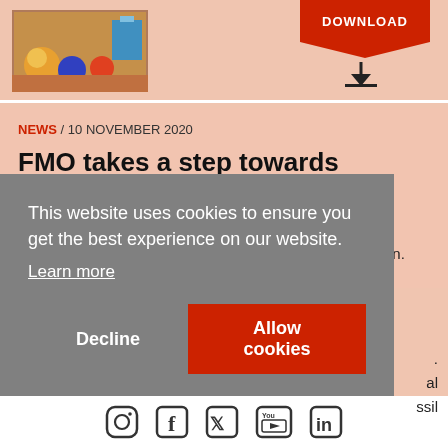[Figure (screenshot): Top bar with a photo thumbnail of colorful items and a red DOWNLOAD button with download icon]
NEWS / 10 NOVEMBER 2020
FMO takes a step towards divesting from fossil fuels
The Dutch development bank FMO has published a statement about fossil fuels to take steps in climate action. Both ENDS and partners are pleased that FMO is...
This website uses cookies to ensure you get the best experience on our website. Learn more
Decline
Allow cookies
[Figure (infographic): Footer social media icons: Instagram, Facebook, Twitter, YouTube, LinkedIn]